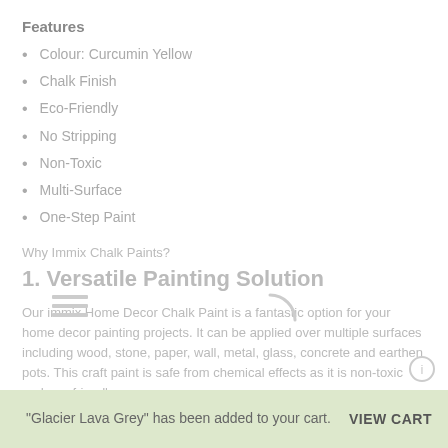Features
Colour: Curcumin Yellow
Chalk Finish
Eco-Friendly
No Stripping
Non-Toxic
Multi-Surface
One-Step Paint
Why Immix Chalk Paints?
1. Versatile Painting Solution
Our immix Home Decor Chalk Paint is a fantastic option for your home decor painting projects. It can be applied over multiple surfaces including wood, stone, paper, wall, metal, glass, concrete and earthen pots. This craft paint is safe from chemical effects as it is non-toxic and eco-friendly.
"Glacier Lava Grey" has been added to your cart.  VIEW CART